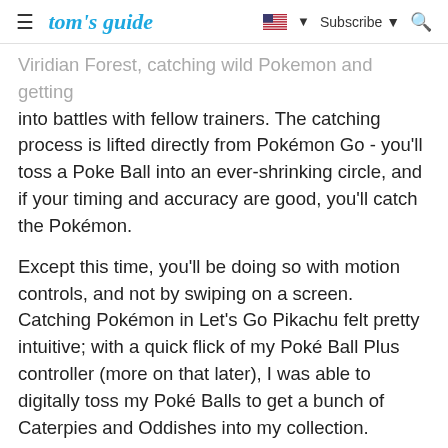tom's guide | Subscribe
Viridian Forest, catching wild Pokemon and getting into battles with fellow trainers. The catching process is lifted directly from Pokémon Go - you'll toss a Poke Ball into an ever-shrinking circle, and if your timing and accuracy are good, you'll catch the Pokémon.
Except this time, you'll be doing so with motion controls, and not by swiping on a screen. Catching Pokémon in Let's Go Pikachu felt pretty intuitive; with a quick flick of my Poké Ball Plus controller (more on that later), I was able to digitally toss my Poké Balls to get a bunch of Caterpies and Oddishes into my collection.
As with Pokemon Go, you'll be able to feed Pokemon